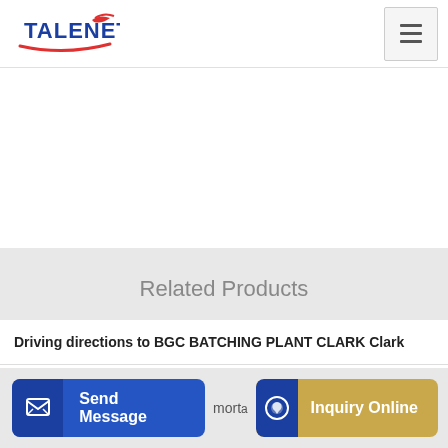TALENET
Related Products
Driving directions to BGC BATCHING PLANT CLARK Clark
SANY SY5530THB C8 Series Truck-mounted Concrete Pump 62M